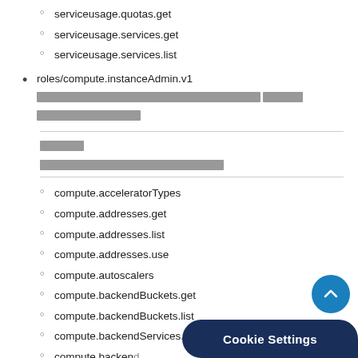serviceusage.quotas.get
serviceusage.services.get
serviceusage.services.list
roles/compute.instanceAdmin.v1 [redacted content]
compute.acceleratorTypes
compute.addresses.get
compute.addresses.list
compute.addresses.use
compute.autoscalers
compute.backendBuckets.get
compute.backendBuckets.list
compute.backendServices.get
compute.backendServices.[redacted]